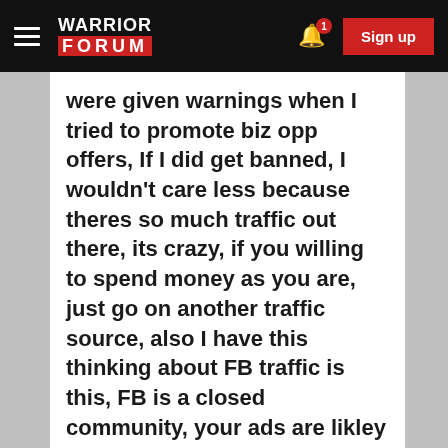Warrior Forum
were given warnings when I tried to promote biz opp offers, If I did get banned, I wouldn't care less because theres so much traffic out there, its crazy, if you willing to spend money as you are, just go on another traffic source, also I have this thinking about FB traffic is this, FB is a closed community, your ads are likley to be seen by same members, anyone outside of their system will not, ie when not logged in. To sum it up, you want to broaden your traffic sources and not just focus on FB so that you can